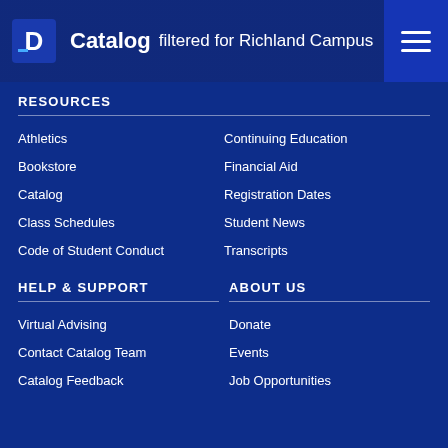Catalog filtered for Richland Campus
RESOURCES
Athletics
Continuing Education
Bookstore
Financial Aid
Catalog
Registration Dates
Class Schedules
Student News
Code of Student Conduct
Transcripts
HELP & SUPPORT
ABOUT US
Virtual Advising
Donate
Contact Catalog Team
Events
Catalog Feedback
Job Opportunities